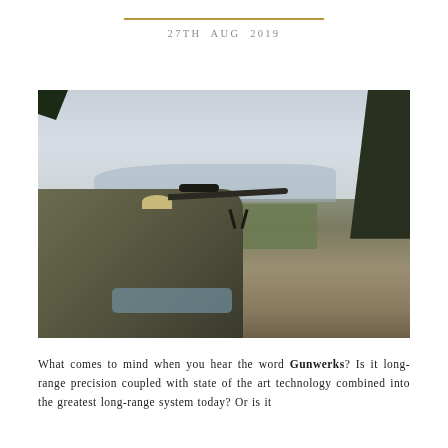27TH AUG 2019
[Figure (photo): A shooter lying prone on the ground aiming a long-range rifle with a scope and bipod, set in an open arid landscape with scrub brush, mountains in the background, and a tree on the right.]
What comes to mind when you hear the word Gunwerks? Is it long-range precision coupled with state of the art technology combined into the greatest long-range system today? Or is it